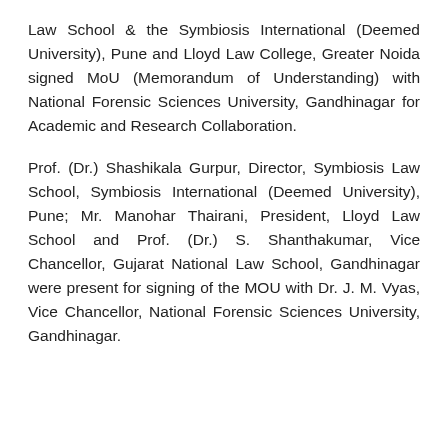Law School & the Symbiosis International (Deemed University), Pune and Lloyd Law College, Greater Noida signed MoU (Memorandum of Understanding) with National Forensic Sciences University, Gandhinagar for Academic and Research Collaboration.
Prof. (Dr.) Shashikala Gurpur, Director, Symbiosis Law School, Symbiosis International (Deemed University), Pune; Mr. Manohar Thairani, President, Lloyd Law School and Prof. (Dr.) S. Shanthakumar, Vice Chancellor, Gujarat National Law School, Gandhinagar were present for signing of the MOU with Dr. J. M. Vyas, Vice Chancellor, National Forensic Sciences University, Gandhinagar.